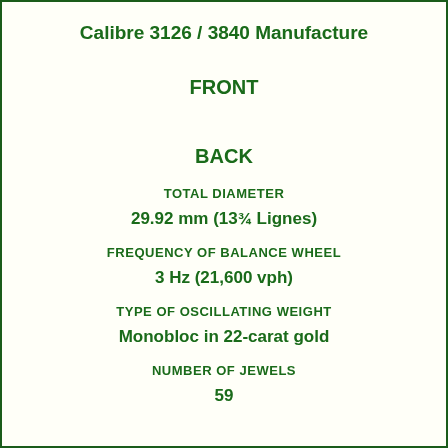Calibre 3126 / 3840 Manufacture
FRONT
BACK
TOTAL DIAMETER
29.92 mm (13¾ Lignes)
FREQUENCY OF BALANCE WHEEL
3 Hz (21,600 vph)
TYPE OF OSCILLATING WEIGHT
Monobloc in 22-carat gold
NUMBER OF JEWELS
59